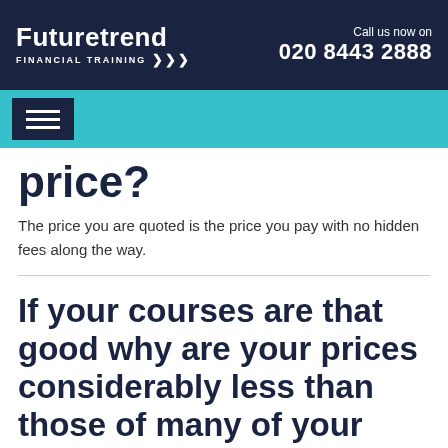Futuretrend Financial Training | Call us now on 020 8443 2888
[Figure (logo): Futuretrend Financial Training logo with navigation hamburger menu on teal bar]
price?
The price you are quoted is the price you pay with no hidden fees along the way.
If your courses are that good why are your prices considerably less than those of many of your competitors?
The answer is simple! In these hard times we are always looking to pass on as much savings as we can to our